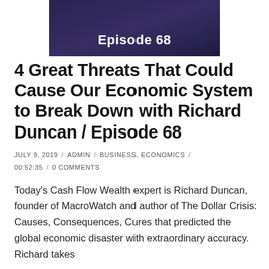[Figure (illustration): Dark purple/indigo podcast episode banner image with text 'Episode 68' in white bold font at the bottom center]
4 Great Threats That Could Cause Our Economic System to Break Down with Richard Duncan / Episode 68
JULY 9, 2019 / ADMIN / BUSINESS, ECONOMICS / 00:52:35 / 0 COMMENTS
Today's Cash Flow Wealth expert is Richard Duncan, founder of MacroWatch and author of The Dollar Crisis: Causes, Consequences, Cures that predicted the global economic disaster with extraordinary accuracy. Richard takes